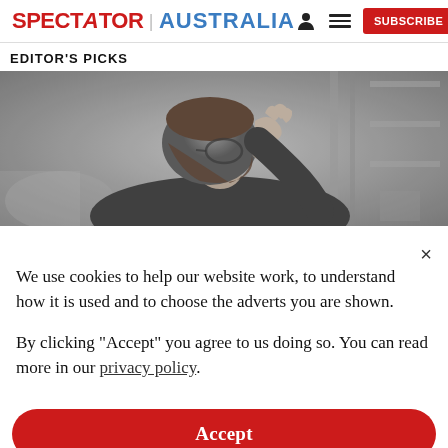SPECTATOR | AUSTRALIA  [person icon] [menu icon] SUBSCRIBE
EDITOR'S PICKS
[Figure (photo): Black and white photo of a person with head down, hand on hair, wearing glasses, appearing stressed or distressed]
We use cookies to help our website work, to understand how it is used and to choose the adverts you are shown.
By clicking "Accept" you agree to us doing so. You can read more in our privacy policy.
Accept